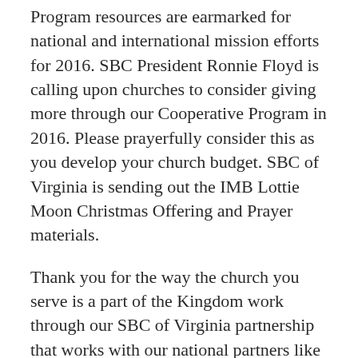Program resources are earmarked for national and international mission efforts for 2016. SBC President Ronnie Floyd is calling upon churches to consider giving more through our Cooperative Program in 2016. Please prayerfully consider this as you develop your church budget. SBC of Virginia is sending out the IMB Lottie Moon Christmas Offering and Prayer materials.
Thank you for the way the church you serve is a part of the Kingdom work through our SBC of Virginia partnership that works with our national partners like IMB and NAMB to reach the world for Christ.